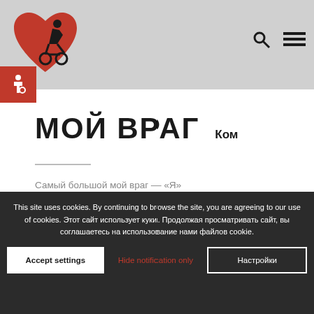МОЙ ВРАГ — website header with logo, accessibility badge, search and menu icons
МОЙ ВРАГ
Ком
Самый большой мой враг — «Я»
This site uses cookies. By continuing to browse the site, you are agreeing to our use of cookies. Этот сайт использует куки. Продолжая просматривать сайт, вы соглашаетесь на использование нами файлов cookie.